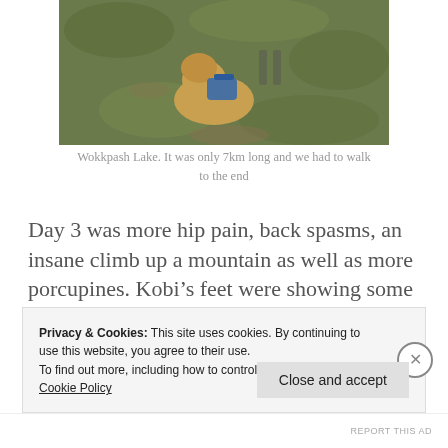[Figure (photo): A dog wearing a blue backpack harness on a mossy/grassy trail, viewed from above. Another person visible in the background.]
Wokkpash Lake. It was only 7km long and we had to walk to the end
Day 3 was more hip pain, back spasms, an insane climb up a mountain as well as more porcupines. Kobi’s feet were showing some wear so I tried putting her boots on her feet, but they just immobilized her, that wasn’t very helpful. Kobi was also unimpressed that I did not bring her princess bed along. I was also wishing for a princess bed.
Privacy & Cookies: This site uses cookies. By continuing to use this website, you agree to their use.
To find out more, including how to control cookies, see here: Cookie Policy
Close and accept